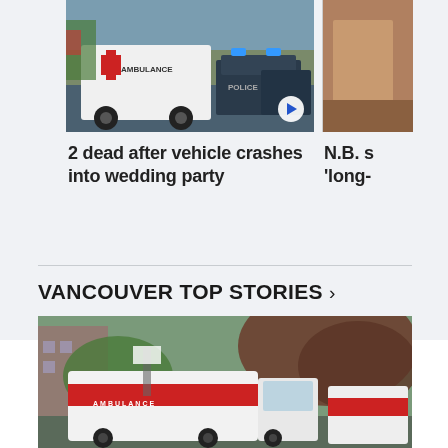[Figure (photo): Ambulance and police vehicles at an emergency scene on a street]
[Figure (photo): Partially visible image, brownish tones, cropped on right side]
2 dead after vehicle crashes into wedding party
N.B. s 'long-
VANCOUVER TOP STORIES >
[Figure (photo): Ambulance vehicles parked on a street with trees and residential buildings in the background]